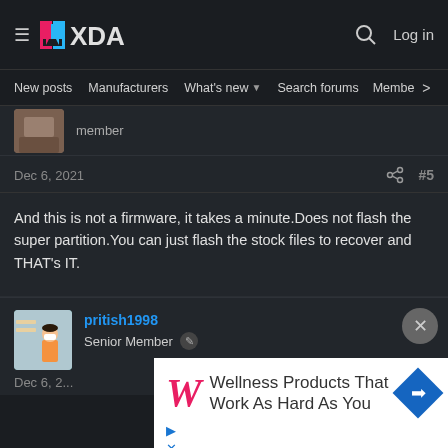XDA Forums — New posts | Manufacturers | What's new | Search forums | Members
member
Dec 6, 2021  #5
And this is not a firmware, it takes a minute.Does not flash the super partition.You can just flash the stock files to recover and THAT's IT.
pritish1998
Senior Member
Dec 6, 2...
[Figure (screenshot): Walgreens advertisement: 'Wellness Products That Work As Hard As You']